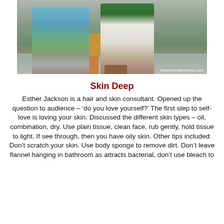[Figure (photo): Photograph showing lower legs and feet of two people seated, one wearing teal strappy sandals with a patterned outfit, the other wearing a white outfit with light sandals. A wooden chair is visible. Watermark reads ©www.thecalabashhub.com]
Skin Deep
Esther Jackson is a hair and skin consultant. Opened up the question to audience – 'do you love yourself?' The first step to self- love is loving your skin. Discussed the different skin types – oil, combination, dry. Use plain tissue, clean face, rub gently, hold tissue to light. If see through, then you have oily skin. Other tips included: Don't scratch your skin. Use body sponge to remove dirt. Don't leave flannel hanging in bathroom as attracts bacterial, don't use bleach to